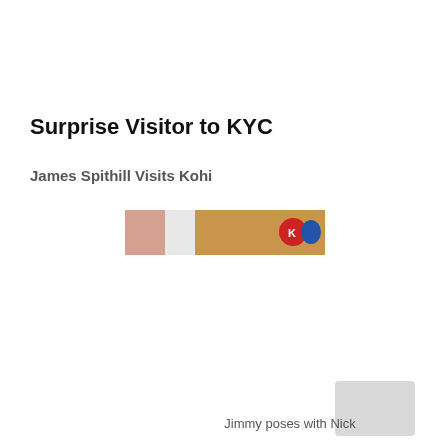Surprise Visitor to KYC
James Spithill Visits Kohi
[Figure (photo): A partial photo showing what appears to be a cropped banner or sign with warm tan/brown tones and a red and blue logo/emblem visible on the right side]
[Figure (photo): A small partially visible photo in the bottom right area, appears light gray/white]
Jimmy poses with Nick